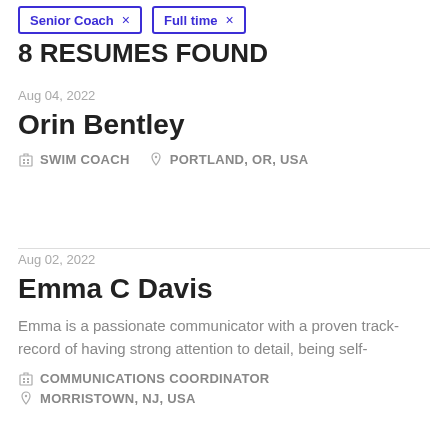Senior Coach ×
Full time ×
8 RESUMES FOUND
Aug 04, 2022
Orin Bentley
SWIM COACH   PORTLAND, OR, USA
Aug 02, 2022
Emma C Davis
Emma is a passionate communicator with a proven track-record of having strong attention to detail, being self-
COMMUNICATIONS COORDINATOR
MORRISTOWN, NJ, USA